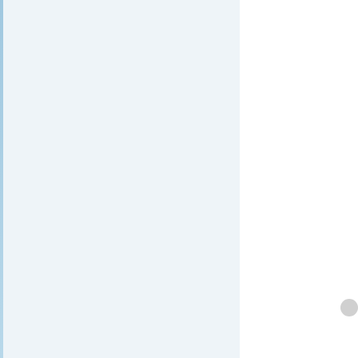[Figure (other): Left panel with light blue-grey background and thin blue accent bar on left edge]
If your inner filmmaker